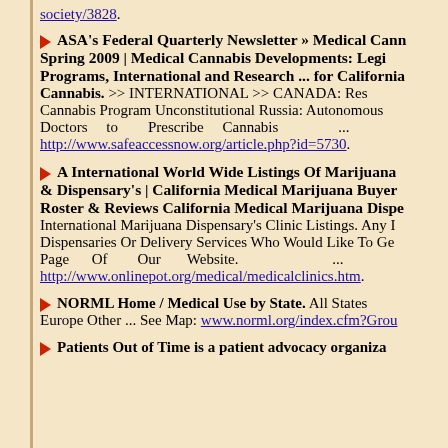society/3828.
ASA's Federal Quarterly Newsletter » Medical Cannabis Spring 2009 | Medical Cannabis Developments: Legislative Programs, International and Research ... for California Cannabis. >> INTERNATIONAL >> CANADA: Res... Cannabis Program Unconstitutional Russia: Autonomous Doctors to Prescribe Cannabis ... http://www.safeaccessnow.org/article.php?id=5730.
A International World Wide Listings Of Marijuana & Dispensary's | California Medical Marijuana Buyers Roster & Reviews California Medical Marijuana Disp... International Marijuana Dispensary's Clinic Listings. Any Dispensaries Or Delivery Services Who Would Like To Ge... Page Of Our Website. ... http://www.onlinepot.org/medical/medicalclinics.htm.
NORML Home / Medical Use by State. All States Europe Other ... See Map: www.norml.org/index.cfm?Grou...
Patients Out of Time is a patient advocacy organiza...